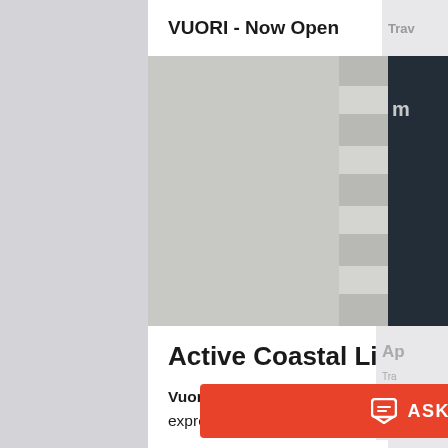VUORI - Now Open
[Figure (photo): Aerial view of two runners (man in yellow shirt and jeans, woman in teal athletic wear) running on a grey crosswalk/street surface. The Vuori brand logo appears in the lower right corner of the image.]
Active Coastal Lifestyle
Vuori draws inspiration from an active coastal California lifestyle by integrating of fitness, creative expression, and life.
ASK ME A QUESTION